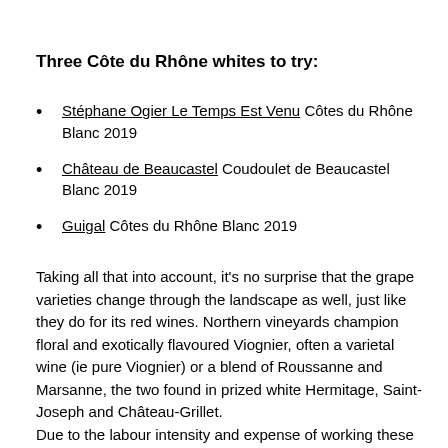Three Côte du Rhône whites to try:
Stéphane Ogier Le Temps Est Venu Côtes du Rhône Blanc 2019
Château de Beaucastel Coudoulet de Beaucastel Blanc 2019
Guigal Côtes du Rhône Blanc 2019
Taking all that into account, it's no surprise that the grape varieties change through the landscape as well, just like they do for its red wines. Northern vineyards champion floral and exotically flavoured Viognier, often a varietal wine (ie pure Viognier) or a blend of Roussanne and Marsanne, the two found in prized white Hermitage, Saint-Joseph and Château-Grillet.
Due to the labour intensity and expense of working these